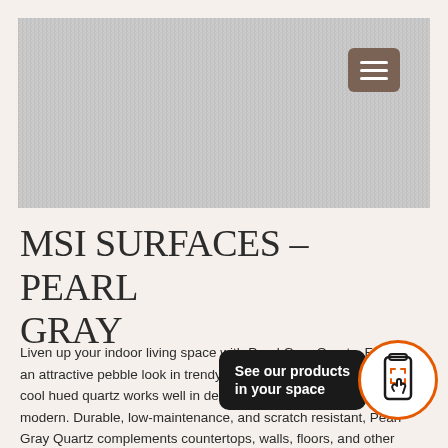[Figure (photo): Close-up texture of Pearl Gray Quartz surface showing a speckled gray and white pebble-like pattern]
MSI SURFACES – PEARL GRAY
Liven up your indoor living space with Pearl Gray Quartz. Featuring an attractive pebble look in trendy shades of gray and white, this cool hued quartz works well in design styles from traditional to modern. Durable, low-maintenance, and scratch resistant, Pearl Gray Quartz complements countertops, walls, floors, and other architectural elements in homes and …
[Figure (screenshot): AR overlay UI element with dark tooltip reading 'See our products in your space' and an orange-bordered circular button with a phone/AR scan icon]